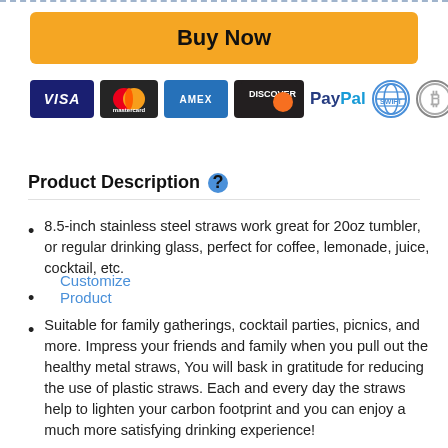[Figure (other): Buy Now button (orange/yellow rounded rectangle)]
[Figure (other): Payment method icons: Visa, Mastercard, AMEX, Discover, PayPal, SWIFT, Bitcoin]
Customize Product
Product Description
8.5-inch stainless steel straws work great for 20oz tumbler, or regular drinking glass, perfect for coffee, lemonade, juice, cocktail, etc.
Suitable for family gatherings, cocktail parties, picnics, and more. Impress your friends and family when you pull out the healthy metal straws, You will bask in gratitude for reducing the use of plastic straws. Each and every day the straws help to lighten your carbon footprint and you can enjoy a much more satisfying drinking experience!
Healthy and Safe - Made of food-grade 18/8 stainless steel,